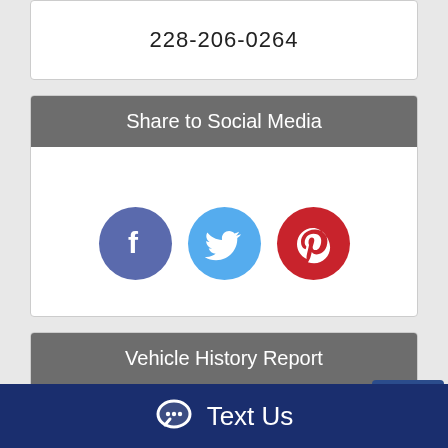228-206-0264
Share to Social Media
[Figure (infographic): Three social media share icons: Facebook (dark blue circle with f), Twitter (light blue circle with bird), Pinterest (red circle with P)]
Vehicle History Report
[Figure (logo): AutoCheck logo - a part of Experian]
[Figure (illustration): Scroll to top arrow button (dark blue square with white chevron up)]
[Figure (illustration): Circular carfax-style icon]
Text Us